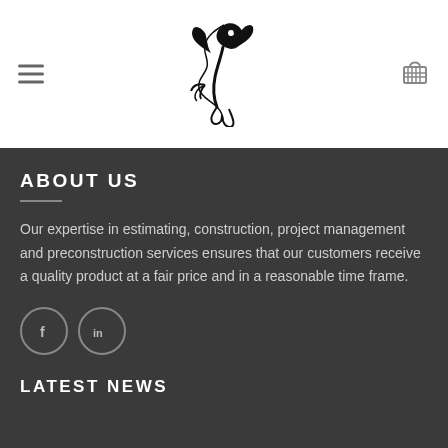[Figure (logo): Dragon/serpent logo in black ink, centered in the header navigation bar]
ABOUT US
Our expertise in estimating, construction, project management and preconstruction services ensures that our customers receive a quality product at a fair price and in a reasonable time frame.
[Figure (illustration): Two social media icons: Facebook (f) and LinkedIn (in), circular with grey borders]
LATEST NEWS